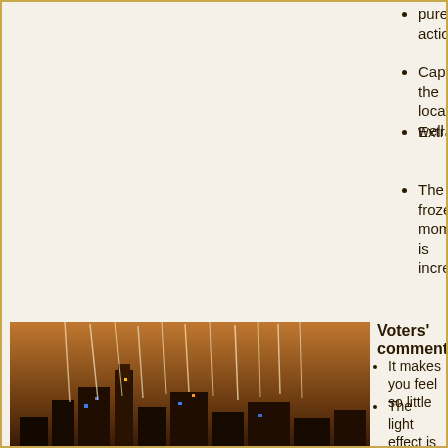pure action
Captures the location well
Extraordinary.
The frozen moment is incredible!
Voters' comments:
It makes you feel so little
The light effect is marvelous(but yet, I had a hard time voting, so many wonderful images!)!
very nice!
beautiful
luxurious
Muy linda vista. Fue muy difícil elegir una.
[Figure (photo): Night cityscape with light streaks over water, tall illuminated buildings]
[Figure (logo): POTY 2007 Wikimedia Picture of the Year logo with laurel wreath and star]
#9 – 41 votes; May 15th 2007
Line of fire memorial, commemorating the 1948 bombing of...